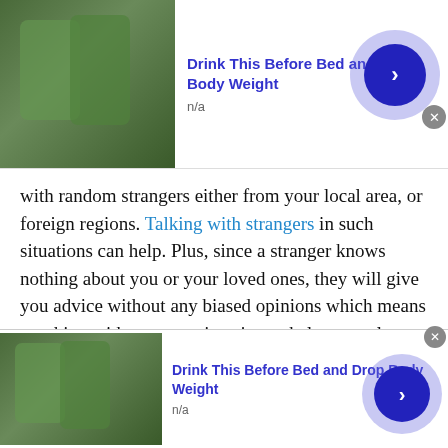[Figure (screenshot): Advertisement banner: 'Drink This Before Bed and Drop Body Weight', n/a, with drink image and blue arrow button]
with random strangers either from your local area, or foreign regions. Talking with strangers in such situations can help. Plus, since a stranger knows nothing about you or your loved ones, they will give you advice without any biased opinions which means speaking with strangers is going to help you solve your problems in a better way. And sometimes public opinion is all you need!
Combat Social Awkwardness
At some point in our lives, we struggle with social
[Figure (screenshot): Advertisement banner: 'Drink This Before Bed and Drop Body Weight', n/a, with drink image and blue arrow button]